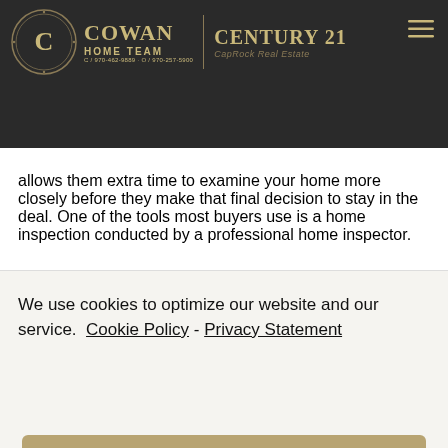Cowan Home Team | Century 21 CapRock Real Estate
allows them extra time to examine your home more closely before they make that final decision to stay in the deal. One of the tools most buyers use is a home inspection conducted by a professional home inspector.
We use cookies to optimize our website and our service. Cookie Policy - Privacy Statement
Accept
basement and the rest of your home's systems. Once